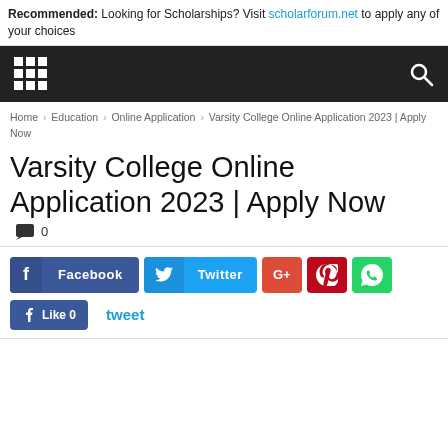Recommended: Looking for Scholarships? Visit scholarforum.net to apply any of your choices
[Figure (screenshot): Dark navigation bar with grid/apps icon on left and search icon on right]
Home › Education › Online Application › Varsity College Online Application 2023 | Apply Now
Varsity College Online Application 2023 | Apply Now
💬 0
[Figure (infographic): Social sharing buttons: Facebook, Twitter, G+, Pinterest, WhatsApp, Like 0, tweet]
Like 0   tweet